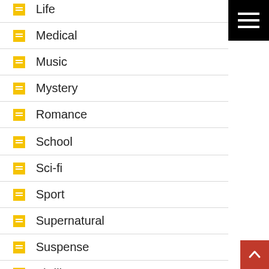Life
Medical
Music
Mystery
Romance
School
Sci-fi
Sport
Supernatural
Suspense
Thriller